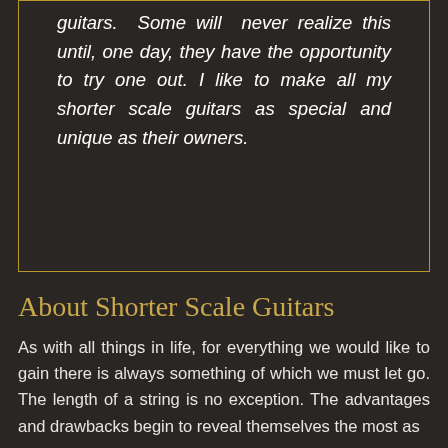guitars. Some will never realize this until, one day, they have the opportunity to try one out. I like to make all my shorter scale guitars as special and unique as their owners.
About Shorter Scale Guitars
As with all things in life, for everything we would like to gain there is always something of which we must let go. The length of a string is no exception. The advantages and drawbacks begin to reveal themselves the most as